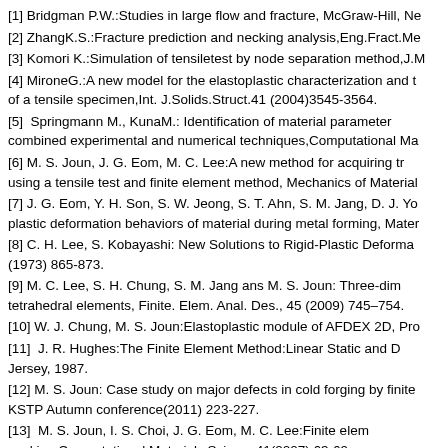[1] Bridgman P.W.:Studies in large flow and fracture, McGraw-Hill, Ne
[2] ZhangK.S.:Fracture prediction and necking analysis,Eng.Fract.Me
[3] Komori K.:Simulation of tensiletest by node separation method,J.M
[4] MironeG.:A new model for the elastoplastic characterization and t of a tensile specimen,Int. J.Solids.Struct.41 (2004)3545-3564.
[5] Springmann M., KunaM.: Identification of material parameter combined experimental and numerical techniques,Computational Ma
[6] M. S. Joun, J. G. Eom, M. C. Lee:A new method for acquiring tr using a tensile test and finite element method, Mechanics of Material
[7] J. G. Eom, Y. H. Son, S. W. Jeong, S. T. Ahn, S. M. Jang, D. J. Yo plastic deformation behaviors of material during metal forming, Mater
[8] C. H. Lee, S. Kobayashi: New Solutions to Rigid-Plastic Deforma (1973) 865-873.
[9] M. C. Lee, S. H. Chung, S. M. Jang ans M. S. Joun: Three-dim tetrahedral elements, Finite. Elem. Anal. Des., 45 (2009) 745–754.
[10] W. J. Chung, M. S. Joun:Elastoplastic module of AFDEX 2D, Pro
[11] J. R. Hughes:The Finite Element Method:Linear Static and D Jersey, 1987.
[12] M. S. Joun: Case study on major defects in cold forging by finite KSTP Autumn conference(2011) 223-227.
[13] M. S. Joun, I. S. Choi, J. G. Eom, M. C. Lee:Finite elem necking,Computational Materials Science41(2007) 63-69.